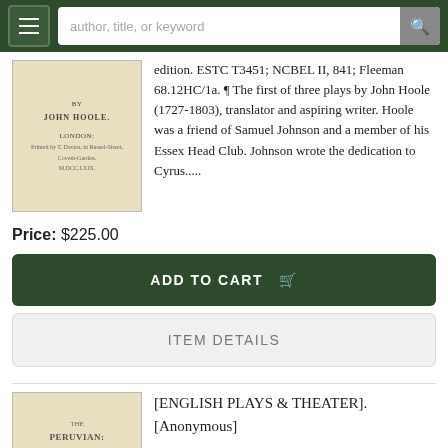author, title, or keyword [search bar]
[Figure (photo): Thumbnail of an old book title page by John Hoole, London]
edition. ESTC T3451; NCBEL II, 841; Fleeman 68.12HC/1a. ¶ The first of three plays by John Hoole (1727-1803), translator and aspiring writer. Hoole was a friend of Samuel Johnson and a member of his Essex Head Club. Johnson wrote the dedication to Cyrus.....
Price: $225.00
ADD TO CART
ITEM DETAILS
[Figure (photo): Thumbnail of an old book titled The Peruvian]
[ENGLISH PLAYS & THEATER]. [Anonymous]